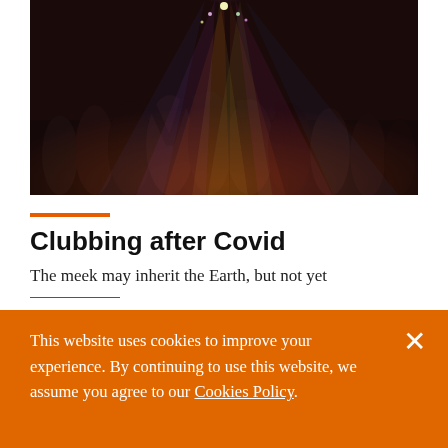[Figure (photo): Nightclub scene with crowd dancing under colorful laser lights and spotlights in a dark venue]
Clubbing after Covid
The meek may inherit the Earth, but not yet
This website uses cookies to improve your experience. By continuing to use this website, we assume you agree to our Cookies Policy.